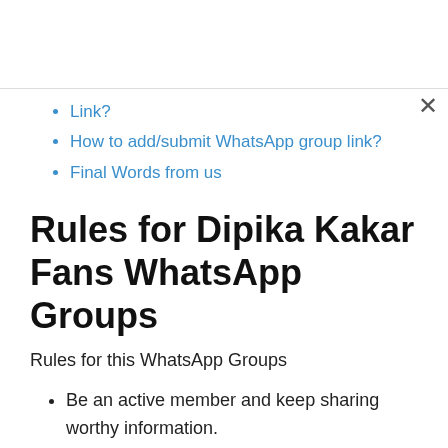Link?
How to add/submit WhatsApp group link?
Final Words from us
Rules for Dipika Kakar Fans WhatsApp Groups
Rules for this WhatsApp Groups
Be an active member and keep sharing worthy information.
Don't make fun of anyone, respect all the members.